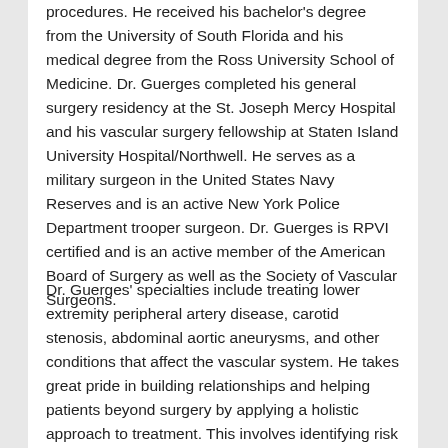procedures.  He received his bachelor's degree from the University of South Florida and his medical degree from the Ross University School of Medicine.  Dr. Guerges completed his general surgery residency at the St. Joseph Mercy Hospital and his vascular surgery fellowship at Staten Island University Hospital/Northwell.  He serves as a military surgeon in the United States Navy Reserves and is an active New York Police Department trooper surgeon.  Dr. Guerges is RPVI certified and is an active member of the American Board of Surgery as well as the Society of Vascular Surgeons.
Dr. Guerges' specialties include treating lower extremity peripheral artery disease, carotid stenosis, abdominal aortic aneurysms, and other conditions that affect the vascular system.  He takes great pride in building relationships and helping patients beyond surgery by applying a holistic approach to treatment.  This involves identifying risk factors that can lead to vascular diseases such as diabetes and hypertension and working with patients to develop a lifestyle plan that addresses these issues and ensures long-term success.